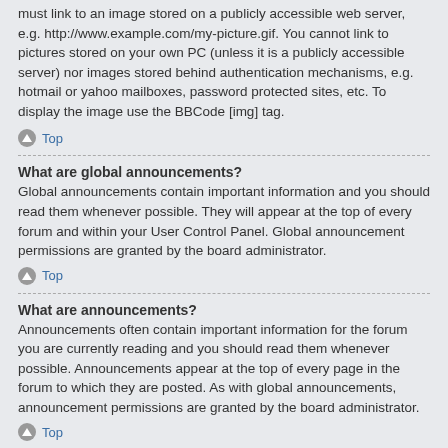must link to an image stored on a publicly accessible web server, e.g. http://www.example.com/my-picture.gif. You cannot link to pictures stored on your own PC (unless it is a publicly accessible server) nor images stored behind authentication mechanisms, e.g. hotmail or yahoo mailboxes, password protected sites, etc. To display the image use the BBCode [img] tag.
Top
What are global announcements?
Global announcements contain important information and you should read them whenever possible. They will appear at the top of every forum and within your User Control Panel. Global announcement permissions are granted by the board administrator.
Top
What are announcements?
Announcements often contain important information for the forum you are currently reading and you should read them whenever possible. Announcements appear at the top of every page in the forum to which they are posted. As with global announcements, announcement permissions are granted by the board administrator.
Top
What are sticky topics?